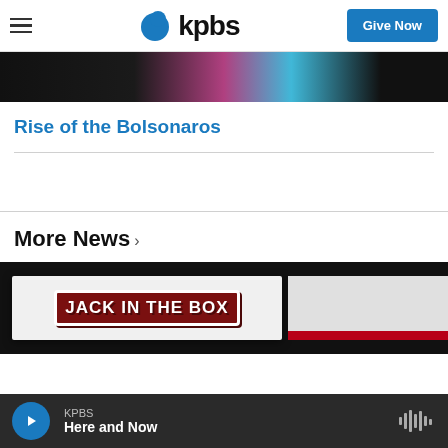kpbs — Give Now
[Figure (photo): Hero image strip showing person in dark clothing with colorful flag/fabric (pink, blue, white) visible in background]
Rise of the Bolsonaros
More News ›
[Figure (photo): Jack in the Box restaurant sign, dark background, sign with maroon/red lettering on light background with red stripe]
KPBS — Here and Now (audio player bar)